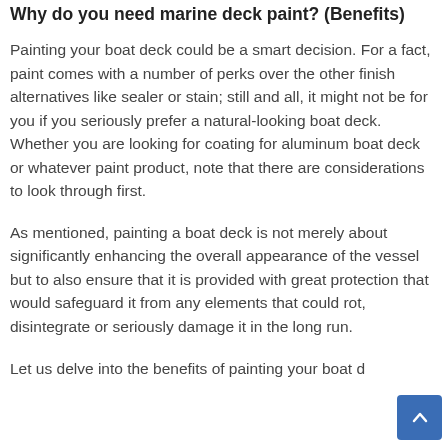Why do you need marine deck paint? (Benefits)
Painting your boat deck could be a smart decision. For a fact, paint comes with a number of perks over the other finish alternatives like sealer or stain; still and all, it might not be for you if you seriously prefer a natural-looking boat deck. Whether you are looking for coating for aluminum boat deck or whatever paint product, note that there are considerations to look through first.
As mentioned, painting a boat deck is not merely about significantly enhancing the overall appearance of the vessel but to also ensure that it is provided with great protection that would safeguard it from any elements that could rot, disintegrate or seriously damage it in the long run.
Let us delve into the benefits of painting your boat d…